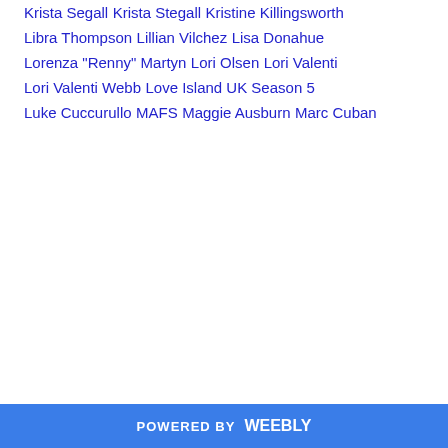Krista Segall
Krista Stegall
Kristine Killingsworth
Libra Thompson
Lillian Vilchez
Lisa Donahue
Lorenza "Renny" Martyn
Lori Olsen
Lori Valenti
Lori Valenti Webb
Love Island UK Season 5
Luke Cuccurullo
MAFS
Maggie Ausburn
Marc Cuban
POWERED BY weebly